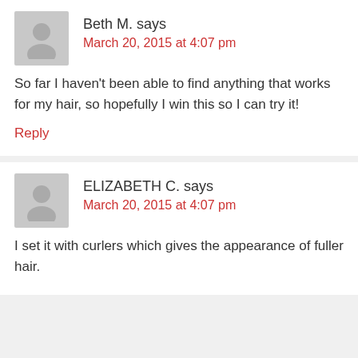Beth M. says
March 20, 2015 at 4:07 pm
So far I haven't been able to find anything that works for my hair, so hopefully I win this so I can try it!
Reply
ELIZABETH C. says
March 20, 2015 at 4:07 pm
I set it with curlers which gives the appearance of fuller hair.